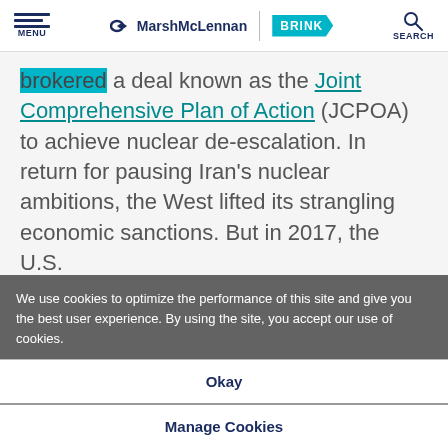MENU | MarshMcLennan BRINK | SEARCH
brokered a deal known as the Joint Comprehensive Plan of Action (JCPOA) to achieve nuclear de-escalation. In return for pausing Iran's nuclear ambitions, the West lifted its strangling economic sanctions. But in 2017, the U.S.
We use cookies to optimize the performance of this site and give you the best user experience. By using the site, you accept our use of cookies.
Okay
Manage Cookies